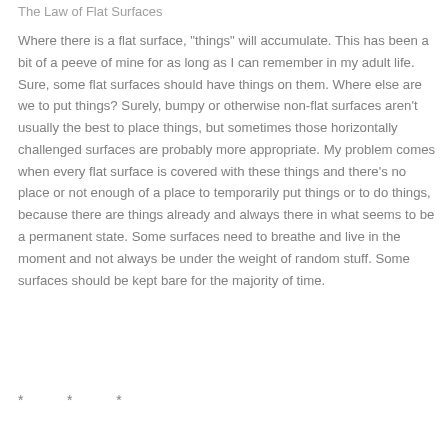The Law of Flat Surfaces
Where there is a flat surface, "things" will accumulate. This has been a bit of a peeve of mine for as long as I can remember in my adult life. Sure, some flat surfaces should have things on them. Where else are we to put things? Surely, bumpy or otherwise non-flat surfaces aren't usually the best to place things, but sometimes those horizontally challenged surfaces are probably more appropriate. My problem comes when every flat surface is covered with these things and there's no place or not enough of a place to temporarily put things or to do things, because there are things already and always there in what seems to be a permanent state. Some surfaces need to breathe and live in the moment and not always be under the weight of random stuff. Some surfaces should be kept bare for the majority of time.
*   *   *